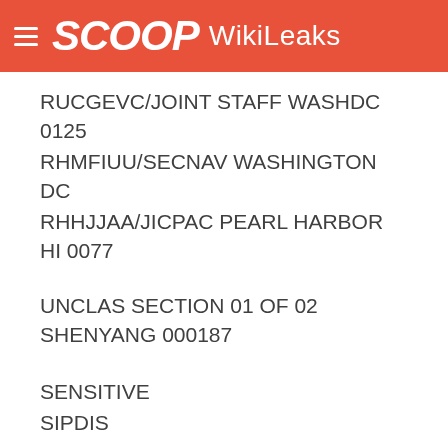SCOOP WikiLeaks
RUCGEVC/JOINT STAFF WASHDC 0125
RHMFIUU/SECNAV WASHINGTON DC
RHHJJAA/JICPAC PEARL HARBOR HI 0077
UNCLAS SECTION 01 OF 02 SHENYANG 000187
SENSITIVE
SIPDIS
E.O. 12958: N/A
TAGS: PGOV MOPS TINT CH
SUBJECT: MOORE'S MARAUDERS INKS COOPERATION DEAL WITH